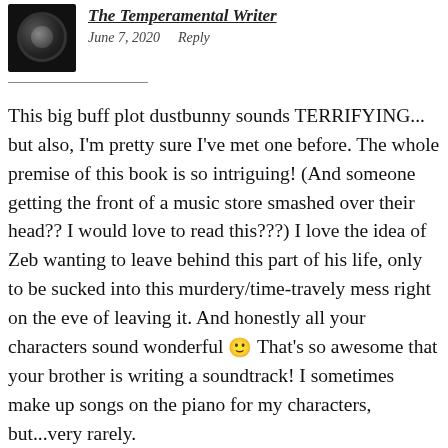[Figure (photo): Profile photo of a camera lens against dark background]
The Temperamental Writer
June 7, 2020    Reply
This big buff plot dustbunny sounds TERRIFYING... but also, I'm pretty sure I've met one before. The whole premise of this book is so intriguing! (And someone getting the front of a music store smashed over their head?? I would love to read this???) I love the idea of Zeb wanting to leave behind this part of his life, only to be sucked into this murdery/time-travely mess right on the eve of leaving it. And honestly all your characters sound wonderful 🙂 That's so awesome that your brother is writing a soundtrack! I sometimes make up songs on the piano for my characters, but...very rarely.
I wrote a book that I was zero percent...